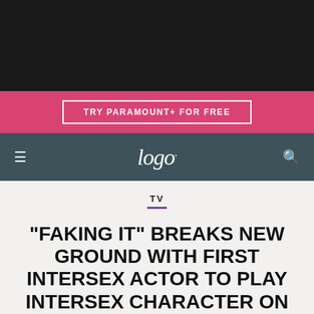[Figure (screenshot): Black banner area at top of webpage]
[Figure (screenshot): Pink banner with 'TRY PARAMOUNT+ FOR FREE' button]
[Figure (screenshot): Dark teal navigation bar with hamburger menu, Logo TV script logo, and search icon]
TV
"FAKING IT" BREAKS NEW GROUND WITH FIRST INTERSEX ACTOR TO PLAY INTERSEX CHARACTER ON TV
"WALKING ONTO A STUDIO SET WAS